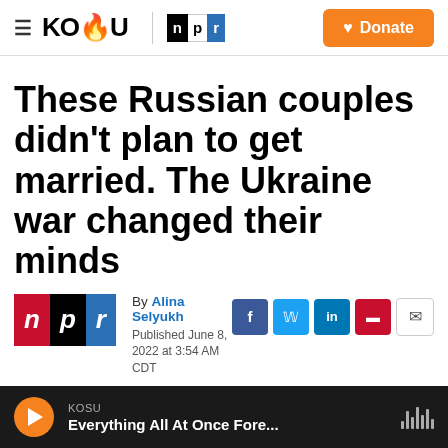KOSU | npr — Donate
These Russian couples didn't plan to get married. The Ukraine war changed their minds
By Alina Selyukh
Published June 8, 2022 at 3:54 AM CDT
KOSU — Everything All At Once Fore...